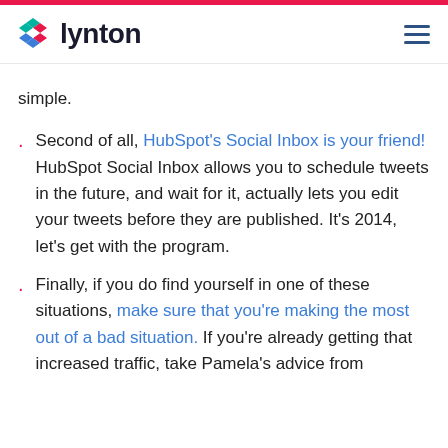lynton
simple.
Second of all, HubSpot's Social Inbox is your friend! HubSpot Social Inbox allows you to schedule tweets in the future, and wait for it, actually lets you edit your tweets before they are published. It's 2014, let's get with the program.
Finally, if you do find yourself in one of these situations, make sure that you're making the most out of a bad situation. If you're already getting that increased traffic, take Pamela's advice from